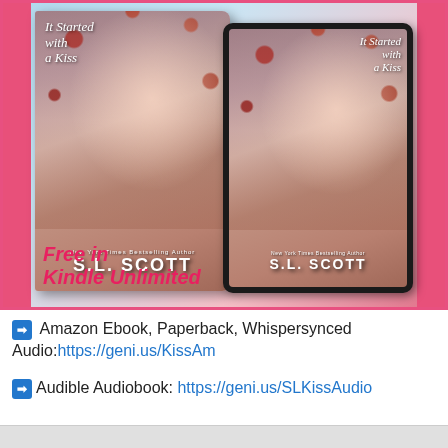[Figure (photo): Book cover and e-reader display of 'It Started with a Kiss' by S.L. Scott, New York Times Bestselling Author. Shows a couple kissing surrounded by flowers. Text overlay reads 'Free in Kindle Unlimited'.]
➡ Amazon Ebook, Paperback, Whispersynced Audio: https://geni.us/KissAm
➡ Audible Audiobook: https://geni.us/SLKissAudio